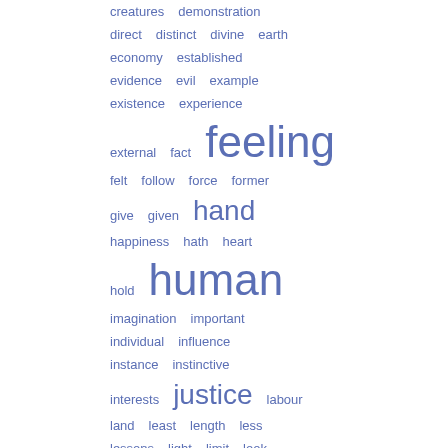[Figure (other): Word cloud with terms related to philosophy/social science in blue, varying font sizes indicating frequency. Words include: creatures, demonstration, direct, distinct, divine, earth, economy, established, evidence, evil, example, existence, experience, external, fact, feeling (large), felt, follow, force, former, give, given, hand (large), happiness, hath, heart, hold, human (large), imagination, important, individual, influence, instance, instinctive, interests, justice (large), labour, land, least, length, less, lessons, light, limit, look, manner, material, matter, means, mechanism, mental]